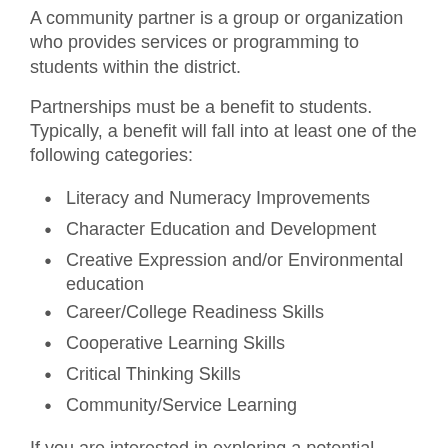A community partner is a group or organization who provides services or programming to students within the district.
Partnerships must be a benefit to students. Typically, a benefit will fall into at least one of the following categories:
Literacy and Numeracy Improvements
Character Education and Development
Creative Expression and/or Environmental education
Career/College Readiness Skills
Cooperative Learning Skills
Critical Thinking Skills
Community/Service Learning
If you are interested in exploring a potential partnership please contact the principal of the school with which you are interested in partnering or the Superintendent's Office (at